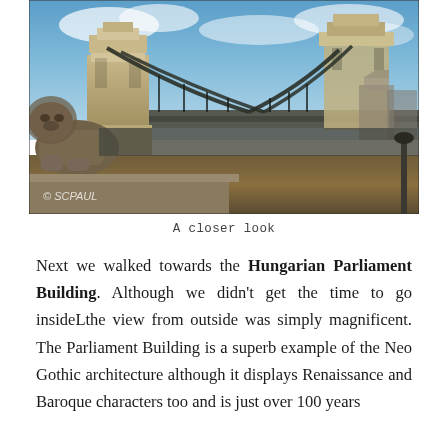[Figure (photo): A close-up photograph of the Chain Bridge in Budapest, Hungary. A stone lion sculpture is visible on the left foreground, with the iconic chain bridge towers and suspension chains spanning across the Danube River. Historic buildings are visible in the background under a blue cloudy sky. A watermark '© SCPAUL' appears in the lower left of the photo.]
A closer look
Next we walked towards the Hungarian Parliament Building. Although we didn't get the time to go insideLthe view from outside was simply magnificent. The Parliament Building is a superb example of the Neo Gothic architecture although it displays Renaissance and Baroque characters too and is just over 100 years